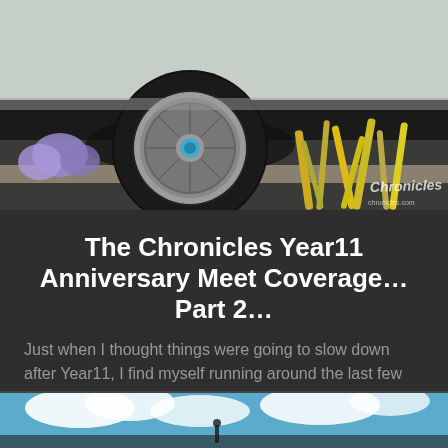[Figure (photo): Close-up photo of a silver/white car's rear wheel with chrome rim and low-profile tire, purple flowers and yellow grass/plants in the foreground, dark asphalt background. Chronicles watermark logo in bottom right corner.]
The Chronicles Year11 Anniversary Meet Coverage… Part 2…
Just when I thought things were going to slow down after Year11, I find myself running around the last few [...]
NOVEMBER 19, 2019    1
[Figure (photo): Bottom portion of a photo showing blue sky with clouds, partially visible.]